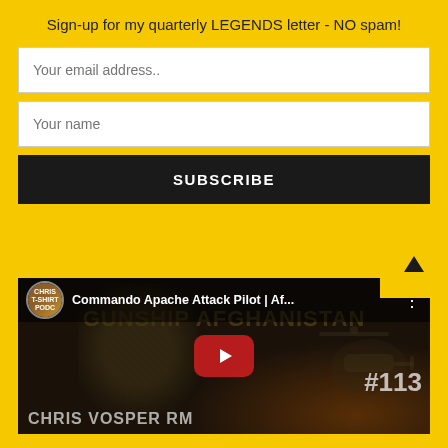Sign-up for my quarterly LEGENDS letter - NO spam!
Your email address..
Your name
SUBSCRIBE
[Figure (screenshot): YouTube video thumbnail for 'Commando Apache Attack Pilot | Af...' featuring text 'CHRIS VOSPER RM' and episode #113, with a red play button in the center. Background shows military/combat imagery with helicopter and fire tones.]